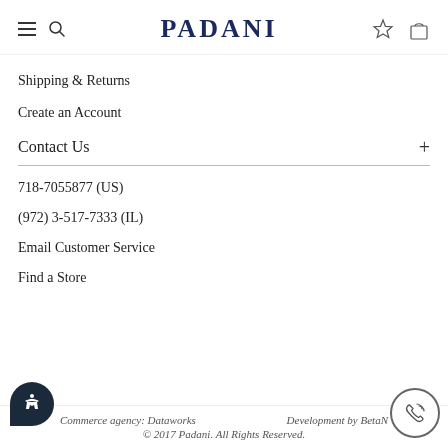PADANI
Shipping & Returns
Create an Account
Contact Us
718-7055877 (US)
(972) 3-517-7333 (IL)
Email Customer Service
Find a Store
Commerce agency: Dataworks   Development by BetaN   © 2017 Padani. All Rights Reserved.